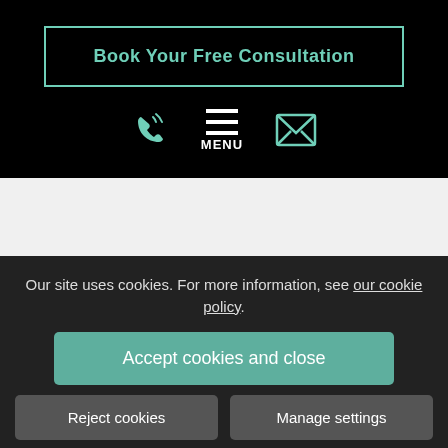Book Your Free Consultation
[Figure (infographic): Navigation icons row: phone icon, hamburger menu icon with MENU label, email/envelope icon]
Our site uses cookies. For more information, see our cookie policy.
Accept cookies and close
Reject cookies
Manage settings